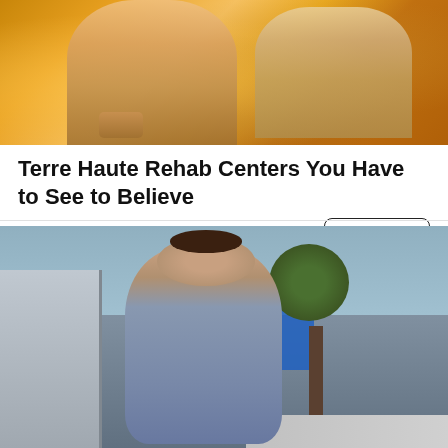[Figure (photo): Two women smiling outdoors in warm golden sunset light, one holding a coffee mug]
Terre Haute Rehab Centers You Have to See to Believe
Rehab Center | Search Ads | Sponsored
[Figure (photo): Young woman with hair in bun wearing grey top, smiling outdoors near a building and trees]